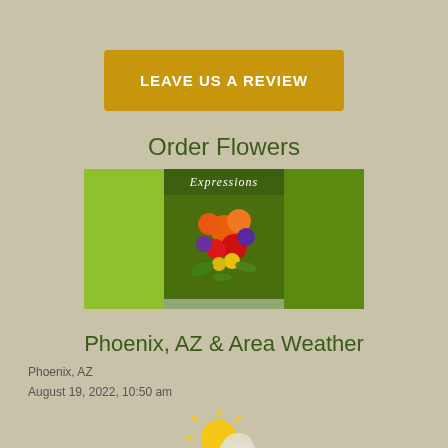Tell us about your Whitney & Murphy Funeral Home experience
LEAVE US A REVIEW
Order Flowers
[Figure (photo): Flower arrangement catalog image titled 'Expressions' showing colorful bouquet of orange roses, red gerberas, purple flowers, and yellow blooms against a green background]
Phoenix, AZ & Area Weather
Phoenix, AZ
August 19, 2022, 10:50 am
[Figure (illustration): Partially visible weather icon showing a sun]